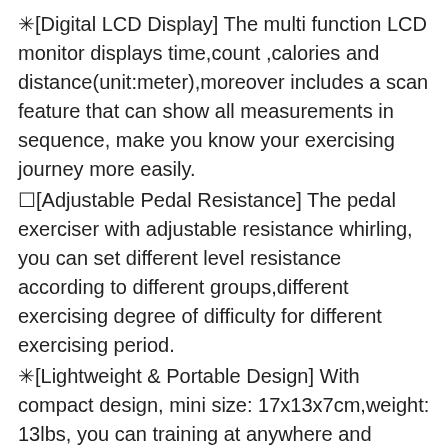✳[Digital LCD Display] The multi function LCD monitor displays time,count ,calories and distance(unit:meter),moreover includes a scan feature that can show all measurements in sequence, make you know your exercising journey more easily.
☐[Adjustable Pedal Resistance] The pedal exerciser with adjustable resistance whirling, you can set different level resistance according to different groups,different exercising degree of difficulty for different exercising period.
✳[Lightweight & Portable Design] With compact design, mini size: 17x13x7cm,weight: 13lbs, you can training at anywhere and anytime, such as home, office, even outside, no limited for such small body.
☐[Easy Assembly] Pedal exerciser with all supplied accessories, in few minutes and without asking for any tools. The anti-slip pedal and the non-slip bike